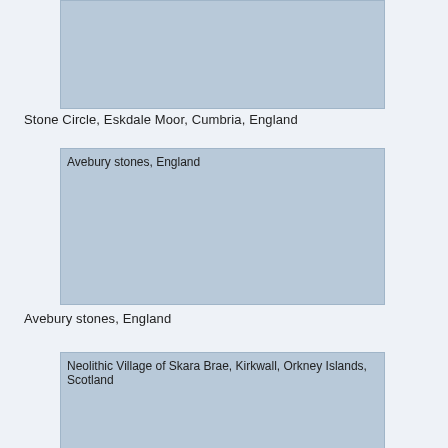[Figure (photo): Stone Circle, Eskdale Moor, Cumbria, England - placeholder image (light blue-gray)]
Stone Circle, Eskdale Moor, Cumbria, England
[Figure (photo): Avebury stones, England - placeholder image (light blue-gray)]
Avebury stones, England
[Figure (photo): Neolithic Village of Skara Brae, Kirkwall, Orkney Islands, Scotland - placeholder image (light blue-gray)]